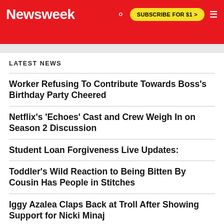Newsweek | SUBSCRIBE FOR $1 >
LATEST NEWS
Worker Refusing To Contribute Towards Boss's Birthday Party Cheered
Netflix's 'Echoes' Cast and Crew Weigh In on Season 2 Discussion
Student Loan Forgiveness Live Updates:
Toddler's Wild Reaction to Being Bitten By Cousin Has People in Stitches
Iggy Azalea Claps Back at Troll After Showing Support for Nicki Minaj